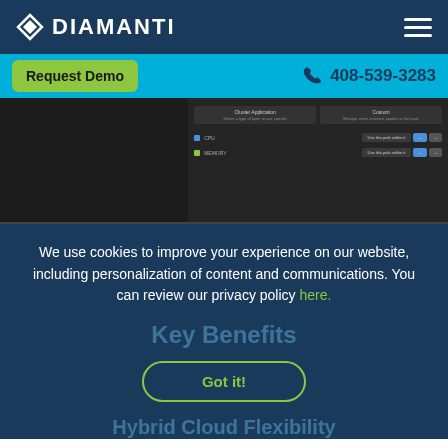DIAMANTI
Request Demo   408-539-3283
[Figure (screenshot): Dark UI screenshot showing a dashboard interface with data rows, labels, and action buttons]
We use cookies to improve your experience on our website, including personalization of content and communications. You can review our privacy policy here.
Key Benefits
Got it!
Hybrid Cloud Flexibility